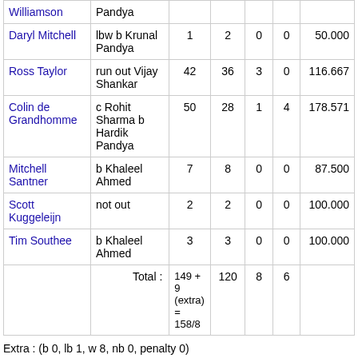| Batsman | Dismissal | R | B | 4s | 6s | SR |
| --- | --- | --- | --- | --- | --- | --- |
| Williamson | Pandya |  |  |  |  |  |
| Daryl Mitchell | lbw b Krunal Pandya | 1 | 2 | 0 | 0 | 50.000 |
| Ross Taylor | run out Vijay Shankar | 42 | 36 | 3 | 0 | 116.667 |
| Colin de Grandhomme | c Rohit Sharma b Hardik Pandya | 50 | 28 | 1 | 4 | 178.571 |
| Mitchell Santner | b Khaleel Ahmed | 7 | 8 | 0 | 0 | 87.500 |
| Scott Kuggeleijn | not out | 2 | 2 | 0 | 0 | 100.000 |
| Tim Southee | b Khaleel Ahmed | 3 | 3 | 0 | 0 | 100.000 |
|  | Total : | 149 + 9 (extra) = 158/8 | 120 | 8 | 6 |  |
Extra : (b 0, lb 1, w 8, nb 0, penalty 0)